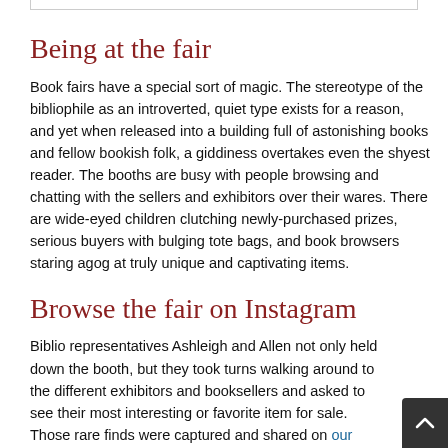Being at the fair
Book fairs have a special sort of magic. The stereotype of the bibliophile as an introverted, quiet type exists for a reason, and yet when released into a building full of astonishing books and fellow bookish folk, a giddiness overtakes even the shyest reader. The booths are busy with people browsing and chatting with the sellers and exhibitors over their wares. There are wide-eyed children clutching newly-purchased prizes, serious buyers with bulging tote bags, and book browsers staring agog at truly unique and captivating items.
Browse the fair on Instagram
Biblio representatives Ashleigh and Allen not only held down the booth, but they took turns walking around to the different exhibitors and booksellers and asked to see their most interesting or favorite item for sale. Those rare finds were captured and shared on our Instagram – take a look at